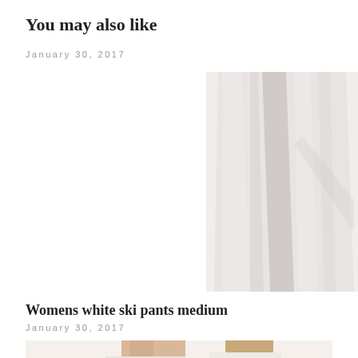You may also like
January 30, 2017
[Figure (photo): Close-up photo of white wide-leg pants/trousers against a white background, showing fabric drape and texture]
Womens white ski pants medium
January 30, 2017
[Figure (photo): Partial photo of a woman wearing white pants, cropped showing torso and legs]